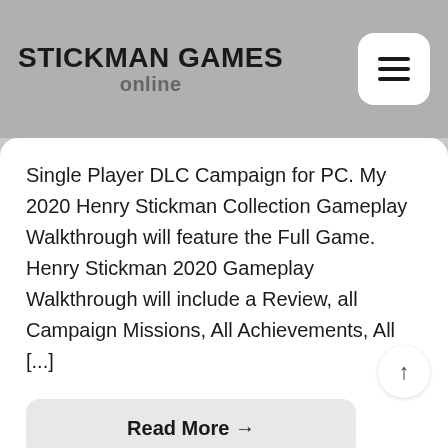STICKMAN GAMES online
Single Player DLC Campaign for PC. My 2020 Henry Stickman Collection Gameplay Walkthrough will feature the Full Game. Henry Stickman 2020 Gameplay Walkthrough will include a Review, all Campaign Missions, All Achievements, All [...]
Read More →
Comments (8)   28.08.2022